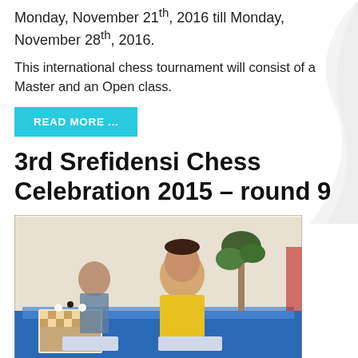Monday, November 21th, 2016 till Monday, November 28th, 2016.
This international chess tournament will consist of a Master and an Open class.
READ MORE ...
3rd Srefidensi Chess Celebration 2015 – round 9
[Figure (photo): Chess players seated at tables playing chess, with a young man in a yellow shirt prominently in the foreground.]
IM Jose Rafael Gascon Del Nogal from Venezuela is the winner of the third edition of the Srefidensi Chess Celebration, with an impressive 7 out of 9 score and a 2590 performance. He is always so well prepared that his opponents have trouble getting playable positions against him. In the last round Anna Zozulia tried 3.c3 in the Sicilian, but soon she ended up in a worse position without anything